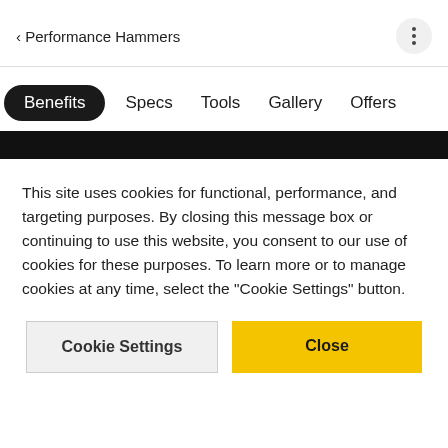< Performance Hammers
Benefits  Specs  Tools  Gallery  Offers
This site uses cookies for functional, performance, and targeting purposes. By closing this message box or continuing to use this website, you consent to our use of cookies for these purposes. To learn more or to manage cookies at any time, select the "Cookie Settings" button.
Cookie Settings   Close